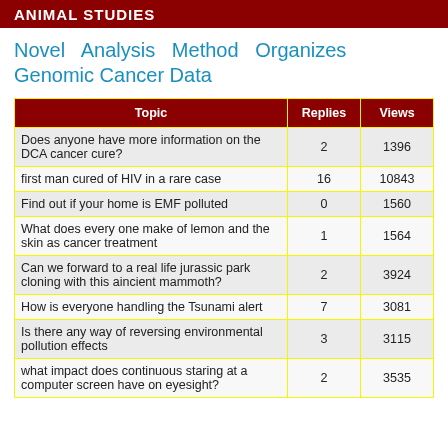ANIMAL STUDIES
Novel Analysis Method Organizes Genomic Cancer Data
| Topic | Replies | Views |
| --- | --- | --- |
| Does anyone have more information on the DCA cancer cure? | 2 | 1396 |
| first man cured of HIV in a rare case | 16 | 10843 |
| Find out if your home is EMF polluted | 0 | 1560 |
| What does every one make of lemon and the skin as cancer treatment | 1 | 1564 |
| Can we forward to a real life jurassic park cloning with this aincient mammoth? | 2 | 3924 |
| How is everyone handling the Tsunami alert | 7 | 3081 |
| Is there any way of reversing environmental pollution effects | 3 | 3115 |
| what impact does continuous staring at a computer screen have on eyesight? | 2 | 3535 |